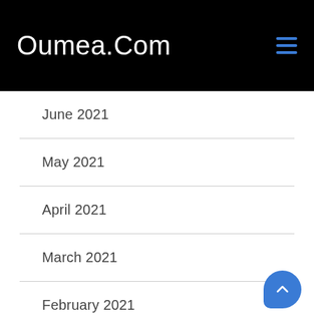Oumea.Com
June 2021
May 2021
April 2021
March 2021
February 2021